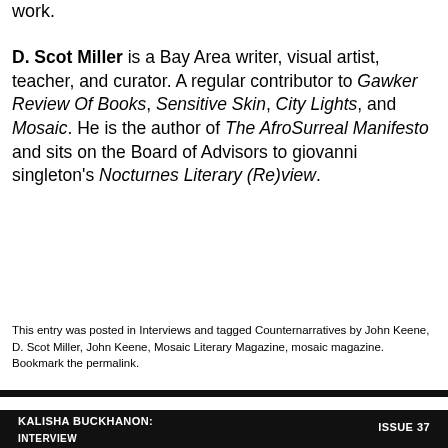work.
D. Scot Miller is a Bay Area writer, visual artist, teacher, and curator. A regular contributor to Gawker Review Of Books, Sensitive Skin, City Lights, and Mosaic. He is the author of The AfroSurreal Manifesto and sits on the Board of Advisors to giovanni singleton's Nocturnes Literary (Re)view.
This entry was posted in Interviews and tagged Counternarratives by John Keene, D. Scot Miller, John Keene, Mosaic Literary Magazine, mosaic magazine. Bookmark the permalink.
KALISHA BUCKHANON: INTERVIEW    ISSUE 37